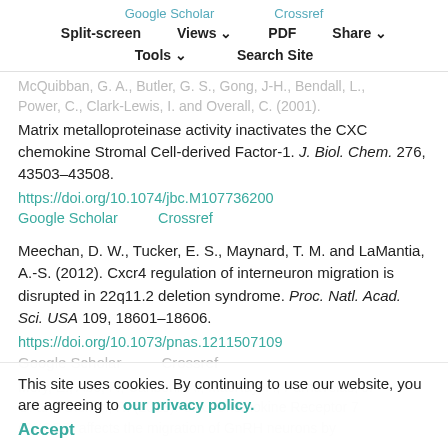Google Scholar   Crossref   Split-screen   Views   PDF   Share   Tools   Search Site
McQuibban, G. A., Butler, G. S., Gong, J-H., Bendall, L., Power, C., Clark-Lewis, I. and Overall, C. (2001).
Matrix metalloproteinase activity inactivates the CXC chemokine Stromal Cell-derived Factor-1. J. Biol. Chem. 276, 43503-43508.
https://doi.org/10.1074/jbc.M107736200
Google Scholar   Crossref
Meechan, D. W., Tucker, E. S., Maynard, T. M. and LaMantia, A.-S. (2012). Cxcr4 regulation of interneuron migration is disrupted in 22q11.2 deletion syndrome. Proc. Natl. Acad. Sci. USA 109, 18601-18606.
https://doi.org/10.1073/pnas.1211507109
Google Scholar   Crossref
Mery, E., Abe, P., Cariboni, A., MacKay, F., Parnavelas, J. G. and Stumm, R. (2013). CXC Chemokine Receptor 7 (CXCR7) affects the migration of GnRH neurons by
This site uses cookies. By continuing to use our website, you are agreeing to our privacy policy. Accept